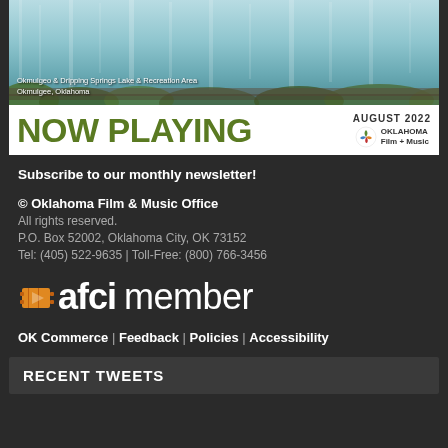[Figure (photo): Waterfall scene at Okmulgee & Dripping Springs Lake & Recreation Area, Okmulgee, Oklahoma]
Okmulgee & Dripping Springs Lake & Recreation Area
Okmulgee, Oklahoma
[Figure (logo): NOW PLAYING banner with Oklahoma Film + Music logo, August 2022]
Subscribe to our monthly newsletter!
© Oklahoma Film & Music Office
All rights reserved.
P.O. Box 52002, Oklahoma City, OK 73152
Tel: (405) 522-9635 | Toll-Free: (800) 766-3456
[Figure (logo): AFCI member logo with orange film strip icon]
OK Commerce | Feedback | Policies | Accessibility
RECENT TWEETS